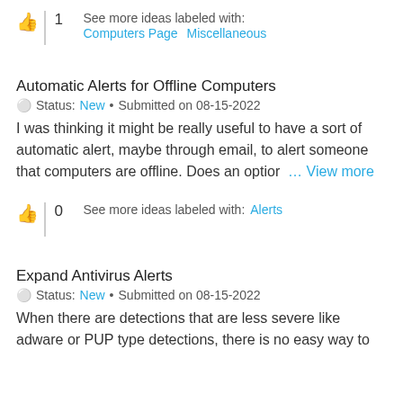1  See more ideas labeled with: Computers Page  Miscellaneous
Automatic Alerts for Offline Computers
Status: New • Submitted on 08-15-2022
I was thinking it might be really useful to have a sort of automatic alert, maybe through email, to alert someone that computers are offline. Does an option … View more
0  See more ideas labeled with: Alerts
Expand Antivirus Alerts
Status: New • Submitted on 08-15-2022
When there are detections that are less severe like adware or PUP type detections, there is no easy way to